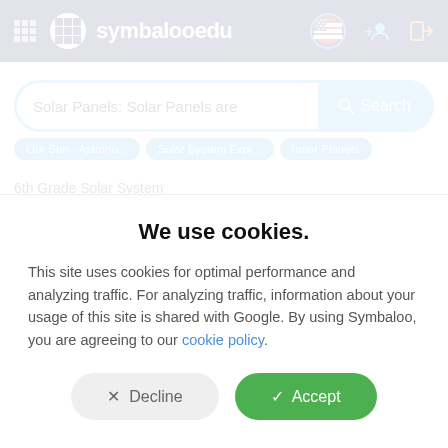symbалооedu
[Figure (screenshot): Search bar with text 'Solar Panels: Solar Panels are' and a blue Search button]
Our Sun - Astrono...   Solar System Expr...   Inner Planets
6th Grade Solar System
US Webmix   1+  Followers
We use cookies.
This site uses cookies for optimal performance and analyzing traffic. For analyzing traffic, information about your usage of this site is shared with Google. By using Symbaloo, you are agreeing to our cookie policy.
✕  Decline
✓  Accept